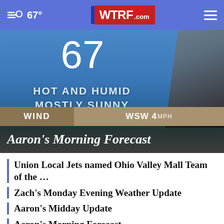67° WTRF.com
[Figure (screenshot): Weather forecast screenshot showing temperature 67, HOT AND HUMID MOSTLY SUNNY, WIND WSW 4MPH, with weatherman in background]
Aaron's Morning Forecast
Union Local Jets named Ohio Valley Mall Team of the ...
Zach's Monday Evening Weather Update
Aaron's Midday Update
Aaron's Morning Forecast